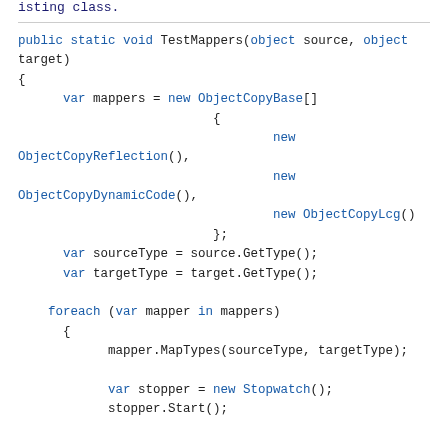isting class.
public static void TestMappers(object source, object target)
{
    var mappers = new ObjectCopyBase[]
                    {
                        new ObjectCopyReflection(),
                        new ObjectCopyDynamicCode(),
                        new ObjectCopyLcg()
                    };
    var sourceType = source.GetType();
    var targetType = target.GetType();

    foreach (var mapper in mappers)
    {
        mapper.MapTypes(sourceType, targetType);

        var stopper = new Stopwatch();
        stopper.Start();